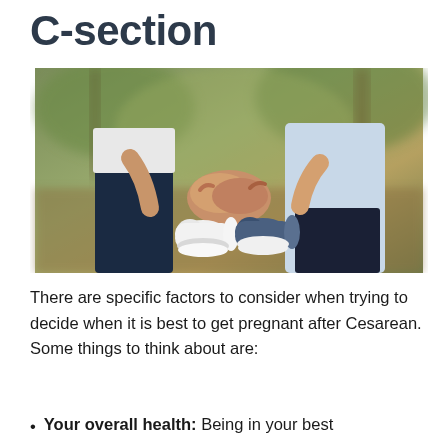C-section
[Figure (photo): Two adults holding hands together, also holding a pair of small white and blue baby shoes, outdoors with blurred green background.]
There are specific factors to consider when trying to decide when it is best to get pregnant after Cesarean. Some things to think about are:
Your overall health: Being in your best